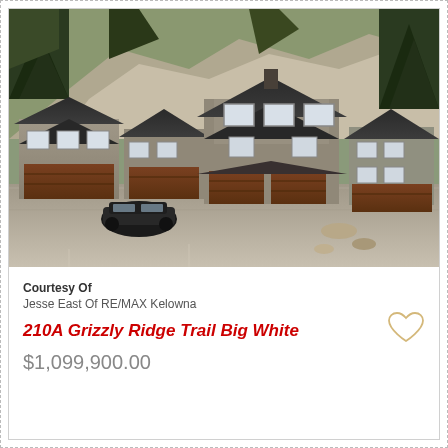[Figure (photo): Aerial drone photo of a townhouse complex at Big White ski resort. Shows multiple two-story units with dark grey roofs, wood-accented garage doors, set against a rocky hillside with pine trees. A black SUV is parked in the foreground. Paved driveways visible.]
Courtesy Of
Jesse East Of RE/MAX Kelowna
210A Grizzly Ridge Trail Big White
$1,099,900.00